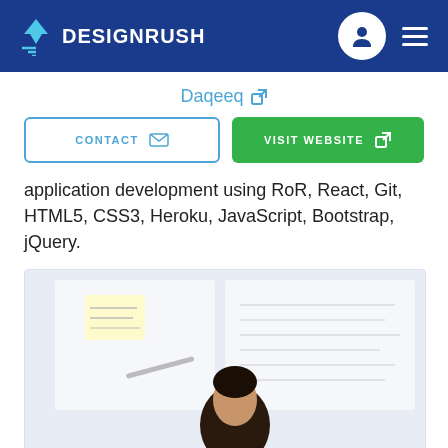DESIGNRUSH
Daqeeq
CONTACT   VISIT WEBSITE
application development using RoR, React, Git, HTML5, CSS3, Heroku, JavaScript, Bootstrap, jQuery.
[Figure (photo): A person standing in front of a whiteboard with diagrams and notes, photographed from the torso up, slightly blurred background]